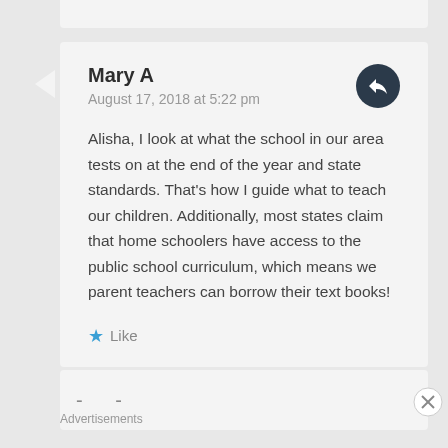Mary A
August 17, 2018 at 5:22 pm
Alisha, I look at what the school in our area tests on at the end of the year and state standards. That's how I guide what to teach our children. Additionally, most states claim that home schoolers have access to the public school curriculum, which means we parent teachers can borrow their text books!
Like
Advertisements